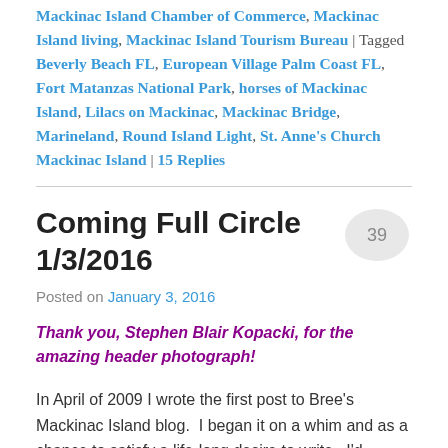Mackinac Island Chamber of Commerce, Mackinac Island living, Mackinac Island Tourism Bureau | Tagged Beverly Beach FL, European Village Palm Coast FL, Fort Matanzas National Park, horses of Mackinac Island, Lilacs on Mackinac, Mackinac Bridge, Marineland, Round Island Light, St. Anne's Church Mackinac Island | 15 Replies
Coming Full Circle 1/3/2016
Posted on January 3, 2016
Thank you, Stephen Blair Kopacki, for the amazing header photograph!
In April of 2009 I wrote the first post to Bree's Mackinac Island blog.  I began it on a whim and as a chance to satisfy a life-long desire to write.  I'd always heard the easiest thing to write on was something you were passionate about, and Mackinac Island sure fit that requirement!